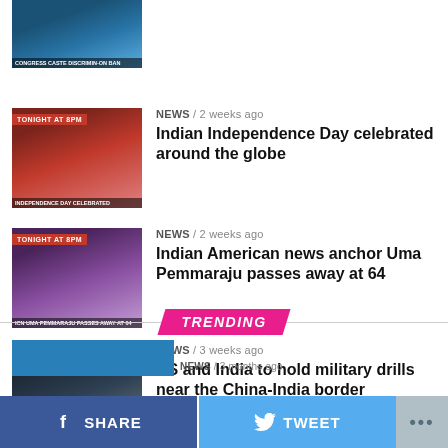[Figure (photo): News thumbnail: partial top item, crowds in blue]
[Figure (photo): News thumbnail: Tonight at 8PM badge, Independence Day crowd in red]
NEWS / 2 weeks ago
Indian Independence Day celebrated around the globe
[Figure (photo): News thumbnail: Tonight at 8PM badge, Indian-American woman anchor]
NEWS / 2 weeks ago
Indian American news anchor Uma Pemmaraju passes away at 64
[Figure (photo): News thumbnail: Tonight at 8PM badge, military figures]
NEWS / 3 weeks ago
US and India to hold military drills near the China-India border
TRENDING
[Figure (photo): Partial thumbnail of trending item]
NEWS / 3 months ago